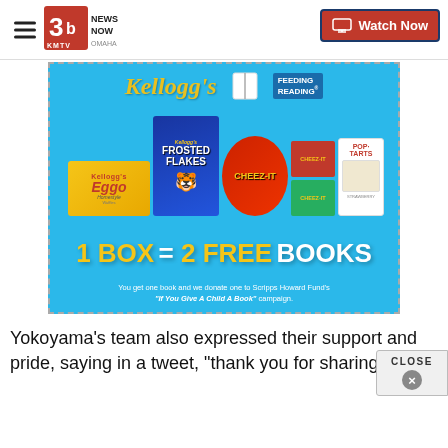[Figure (screenshot): KMTV 3 News Now Omaha website header with hamburger menu, station logo, and Watch Now button]
[Figure (photo): Kellogg's Feeding Reading advertisement. Shows Frosted Flakes, Eggo, Cheez-It, and Pop-Tarts products. Text reads: 1 BOX = 2 FREE BOOKS. You get one book and we donate one to Scripps Howard Fund's 'If You Give A Child A Book' campaign.]
Yokoyama's team also expressed their support and pride, saying in a tweet, "thank you for sharing th...